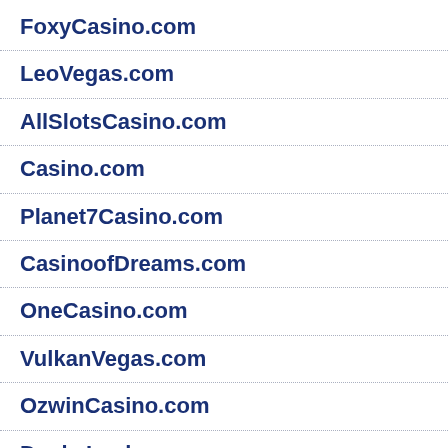FoxyCasino.com
LeoVegas.com
AllSlotsCasino.com
Casino.com
Planet7Casino.com
CasinoofDreams.com
OneCasino.com
VulkanVegas.com
OzwinCasino.com
DuckyLuck.ag
TradaCasino.com